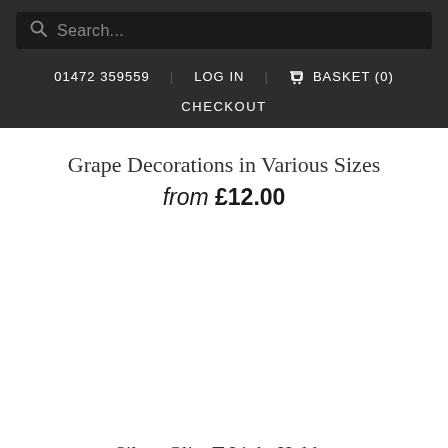Search...  01472 359559  LOG IN  BASKET (0)  CHECKOUT
Grape Decorations in Various Sizes
from £12.00
Silver Glitz T-Light Holder